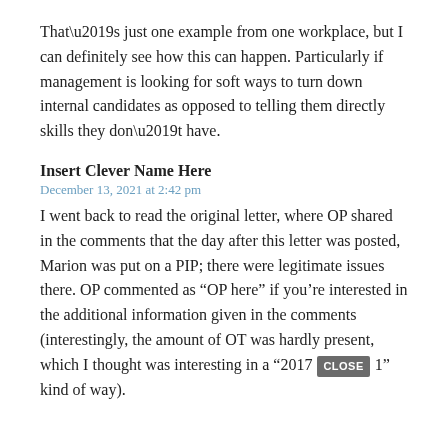That's just one example from one workplace, but I can definitely see how this can happen. Particularly if management is looking for soft ways to turn down internal candidates as opposed to telling them directly skills they don't have.
Insert Clever Name Here
December 13, 2021 at 2:42 pm
I went back to read the original letter, where OP shared in the comments that the day after this letter was posted, Marion was put on a PIP; there were legitimate issues there. OP commented as “OP here” if you’re interested in the additional information given in the comments (interestingly, the amount of OT was hardly present, which I thought was interesting in a “2017 [CLOSE] 1” kind of way).